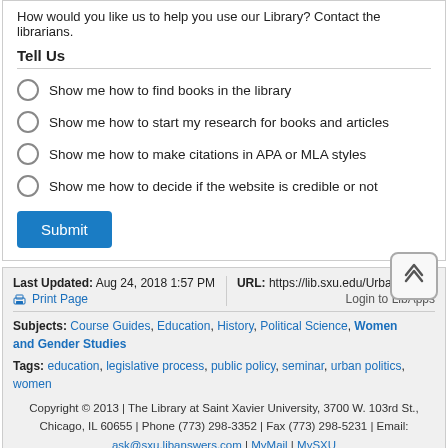How would you like us to help you use our Library? Contact the librarians.
Tell Us
Show me how to find books in the library
Show me how to start my research for books and articles
Show me how to make citations in APA or MLA styles
Show me how to decide if the website is credible or not
Submit
Last Updated: Aug 24, 2018 1:57 PM | URL: https://lib.sxu.edu/Urbanpolitics | Print Page | Login to LibApps | Subjects: Course Guides, Education, History, Political Science, Women and Gender Studies | Tags: education, legislative process, public policy, seminar, urban politics, women | Copyright © 2013 | The Library at Saint Xavier University, 3700 W. 103rd St., Chicago, IL 60655 | Phone (773) 298-3352 | Fax (773) 298-5231 | Email: ask@sxu.libanswers.com | MyMail | MySXU